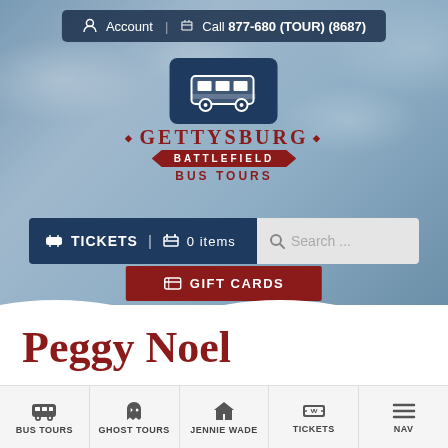Account | Call 877-680 (TOUR) (8687)
[Figure (logo): Gettysburg Battlefield Bus Tours logo with bus icon and ribbon text]
TICKETS | 0 items   Search ...
GIFT CARDS
Peggy Noel
April 25, 2014
BUS TOURS | GHOST TOURS | JENNIE WADE | TICKETS | NAV